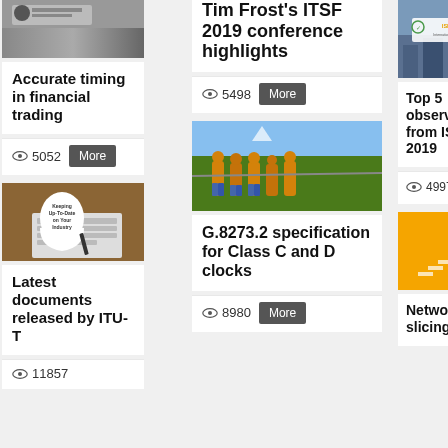[Figure (photo): Person at computer, financial trading context]
Accurate timing in financial trading
👁 5052  More
[Figure (photo): Tim Frost's ITSF 2019 conference highlights - partial title visible]
Tim Frost's ITSF 2019 conference highlights
👁 5498  More
[Figure (photo): Tug of war teams pulling rope on grass]
G.8273.2 specification for Class C and D clocks
👁 8980  More
[Figure (photo): ISPCS 2019 conference logo over aerial city view]
Top 5 observations from ISPCS 2019
👁 4997  More
[Figure (photo): Keeping Up-To-Date on Your Industry note on desk with keyboard]
Latest documents released by ITU-T
👁 11857
[Figure (photo): 5G yellow/orange graphic with staircase and upward arrow]
Network slicing: hype